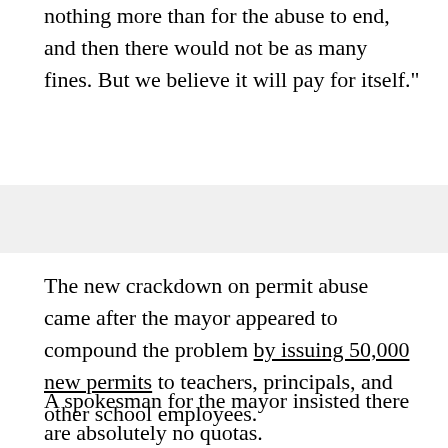nothing more than for the abuse to end, and then there would not be as many fines. But we believe it will pay for itself."
The new crackdown on permit abuse came after the mayor appeared to compound the problem by issuing 50,000 new permits to teachers, principals, and other school employees.
A spokesman for the mayor insisted there are absolutely no quotas.
"The point of this program is to enforce good behavior by cracking down on anyone abusing their privilege," said de Blasio spokeswoman Freddi